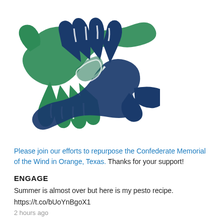[Figure (illustration): A handshake logo with two hands — one green and one dark blue — interlinked, depicted in a flat icon style with white outline details.]
Please join our efforts to repurpose the Confederate Memorial of the Wind in Orange, Texas. Thanks for your support!
ENGAGE
Summer is almost over but here is my pesto recipe.
https://t.co/bUoYnBgoX1
2 hours ago